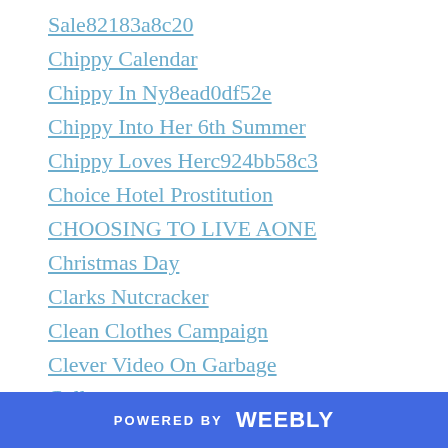Sale82183a8c20
Chippy Calendar
Chippy In Ny8ead0df52e
Chippy Into Her 6th Summer
Chippy Loves Herc924bb58c3
Choice Hotel Prostitution
CHOOSING TO LIVE AONE
Christmas Day
Clarks Nutcracker
Clean Clothes Campaign
Clever Video On Garbage
Collage
Collateral Repair Project
Colorado
Colorado Weather
Color Blind
Comic Book Illustrators Fighting
POWERED BY weebly